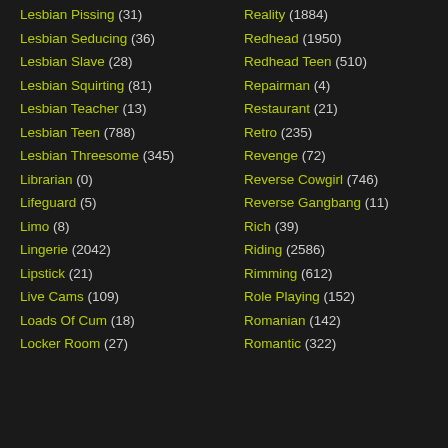Lesbian Pissing (31)
Lesbian Seducing (36)
Lesbian Slave (28)
Lesbian Squirting (81)
Lesbian Teacher (13)
Lesbian Teen (788)
Lesbian Threesome (345)
Librarian (0)
Lifeguard (5)
Limo (8)
Lingerie (2042)
Lipstick (21)
Live Cams (109)
Loads Of Cum (18)
Locker Room (27)
Reality (1884)
Redhead (1950)
Redhead Teen (510)
Repairman (4)
Restaurant (21)
Retro (235)
Revenge (72)
Reverse Cowgirl (746)
Reverse Gangbang (11)
Rich (39)
Riding (2586)
Rimming (612)
Role Playing (152)
Romanian (142)
Romantic (322)